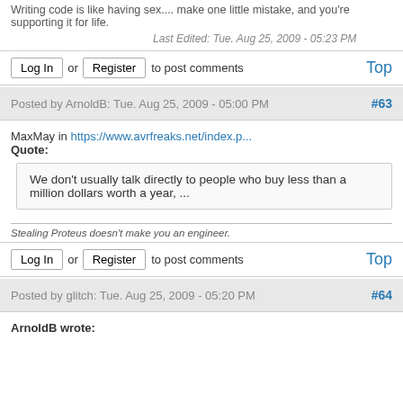Writing code is like having sex.... make one little mistake, and you're supporting it for life.
Last Edited: Tue. Aug 25, 2009 - 05:23 PM
Log In or Register to post comments   Top
Posted by ArnoldB: Tue. Aug 25, 2009 - 05:00 PM  #63
MaxMay in https://www.avrfreaks.net/index.p...
Quote:
We don't usually talk directly to people who buy less than a million dollars worth a year, ...
Stealing Proteus doesn't make you an engineer.
Log In or Register to post comments   Top
Posted by glitch: Tue. Aug 25, 2009 - 05:20 PM  #64
ArnoldB wrote: